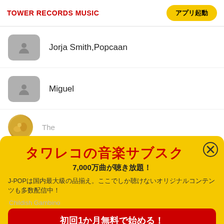TOWER RECORDS MUSIC
アプリ起動
Jorja Smith,Popcaan
Miguel
[Figure (screenshot): Promotional popup overlay for Tower Records Music subscription service showing タワレコの音楽サブスク (Tower Records Music Subscription), 7,000万曲が聴き放題！, J-POP content description, and 初回1か月無料で始める！ call-to-action button with coupon offer]
タワレコの音楽サブスク
7,000万曲が聴き放題！
J-POPは国内最大級の品揃え。ここでしか聴けないオリジナルコンテンツも多数配信中！
初回1か月無料で始める！
タワレコオンラインで使える1,000円クーポン 最大6か月プレゼント